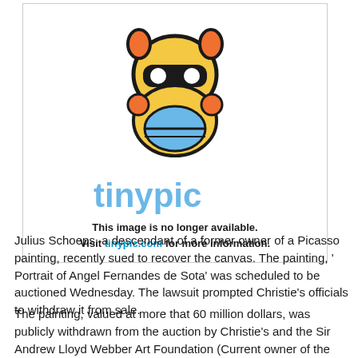[Figure (illustration): Tinypic placeholder image showing the Tinypic mascot (cartoon robot/trophy character) and logo, with text stating the image is no longer available]
Julius Schoeps, a descendant of a former owner of a Picasso painting, recently sued to recover the canvas. The painting, ' Portrait of Angel Fernandes de Sota' was scheduled to be auctioned Wednesday. The lawsuit prompted Christie's officials to withdraw it from sale.
The painting, valued at more that 60 million dollars, was publicly withdrawn from the auction by Christie's and the Sir Andrew Lloyd Webber Art Foundation (Current owner of the painting) during a joint decision. However, a court decision